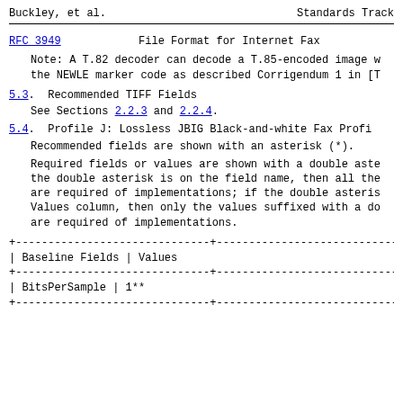Buckley, et al.    Standards Track
RFC 3949    File Format for Internet Fax
Note: A T.82 decoder can decode a T.85-encoded image w... the NEWLE marker code as described Corrigendum 1 in [T...
5.3.  Recommended TIFF Fields
See Sections 2.2.3 and 2.2.4.
5.4.  Profile J: Lossless JBIG Black-and-white Fax Profi...
Recommended fields are shown with an asterisk (*).
Required fields or values are shown with a double aste... the double asterisk is on the field name, then all the... are required of implementations; if the double asteris... Values column, then only the values suffixed with a do... are required of implementations.
| Baseline Fields | Values |
| --- | --- |
| BitsPerSample | 1** |